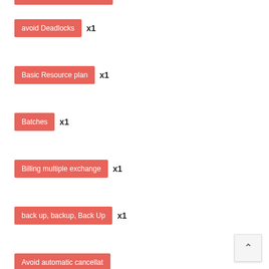avoid Deadlocks x1
Basic Resource plan x1
Batches x1
Billing multiple exchange x1
back up, backup, Back Up x1
Avoid automatic cancellat x1
Backup Failed x1
Auto-verify domains x1
Backup MachPanel Contr x1
backup control x1
auto-delete x1
automatic failover x1